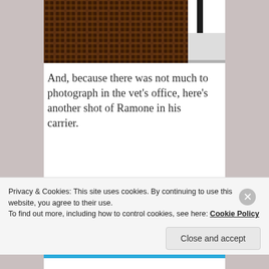[Figure (photo): Close-up photo of wicker/mesh carrier material, brown woven texture, partially showing a white and black object (possibly a cat)]
And, because there was not much to photograph in the vet’s office, here’s another shot of Ramone in his carrier.
[Figure (screenshot): Advertisement banner with blue background reading 'The only journaling app you'll ever need.' with a 'Get the app' button]
Privacy & Cookies: This site uses cookies. By continuing to use this website, you agree to their use.
To find out more, including how to control cookies, see here: Cookie Policy
Close and accept